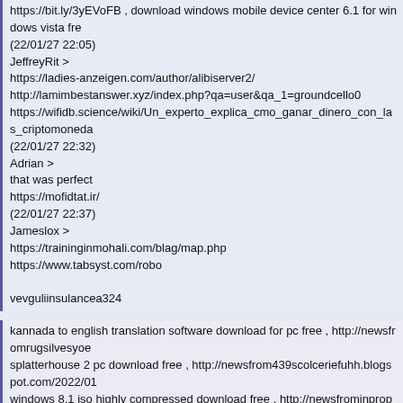https://bit.ly/3yEVoFB , download windows mobile device center 6.1 for windows vista fre (22/01/27 22:05)
JeffreyRit >
https://ladies-anzeigen.com/author/alibiserver2/
http://lamimbestanswer.xyz/index.php?qa=user&qa_1=groundcello0
https://wifidb.science/wiki/Un_experto_explica_cmo_ganar_dinero_con_las_criptomoneda (22/01/27 22:32)
Adrian >
that was perfect
https://mofidtat.ir/
(22/01/27 22:37)
Jameslox >
https://traininginmohali.com/blag/map.php
https://www.tabsyst.com/robo
vevguliinsulancea324
kannada to english translation software download for pc free , http://newsfromrugsilvesyoe splatterhouse 2 pc download free , http://newsfrom439scolceriefuhh.blogspot.com/2022/01 windows 8.1 iso highly compressed download free , http://newsfrominpropstinfu4y.blogspo adobe photoshop 7 download full version for windows 7 with crack free , https://sites.goog download sptd for windows 8.1 free , http://newsfrom8mamuthergopa.blogspot.com/2022/ dragon ball z budokai tenkaichi 2 pc download full free , https://sites.google.com/view/8uu [url=https://bit.ly/3fNTIRe]download jogo formula 1 2011 pc completo free[/url]
[url=https://bit.ly/3tGcAKv]download windows media player classic 32 bit free[/url]
[url=https://bit.ly/3JXuYUK]mscomct2.ocx download win 7 free[/url]
[url=https://bit.ly/3GvkDwV]download snapchat xap free[/url]
http://firstaboutdowbload.org/map4.php
http://bestfreefiles.org/map73.php